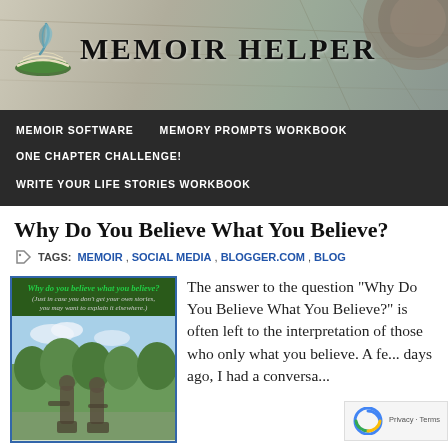[Figure (logo): Memoir Helper website header with feather/book logo and decorative background with old photos and papers]
MEMOIR SOFTWARE   MEMORY PROMPTS WORKBOOK   ONE CHAPTER CHALLENGE!   WRITE YOUR LIFE STORIES WORKBOOK
Why Do You Believe What You Believe?
TAGS: MEMOIR, SOCIAL MEDIA, BLOGGER.COM, BLOG
[Figure (photo): Book cover image titled 'Why do you believe what you believe?' with subtitle '(Just in case you don't get your own stories, you may want to explain it elsewhere)' above a photo of two bronze statues]
The answer to the question "Why Do You Believe What You Believe?" is often left to the interpretation of those who only what you believe. A fe... days ago, I had a conversa...